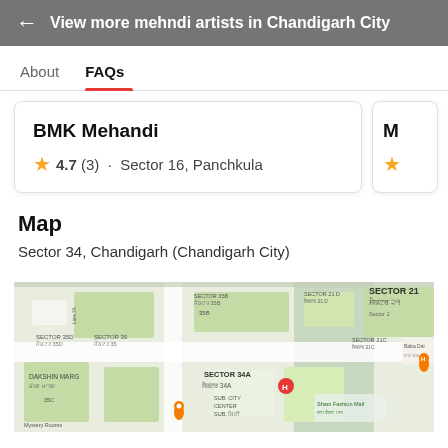← View more mehndi artists in Chandigarh City
About  FAQs
BMK Mehandi
★ 4.7 (3) · Sector 16, Panchkula
Map
Sector 34, Chandigarh (Chandigarh City)
[Figure (map): Google Maps showing Sector 34A Chandigarh area with nearby sectors 35, 21, 21C, DAKSHIN MARG, SUB CITY CENTER, Sham Fashion Mall, Baba Dai label, Mystery Rooms, and map pins]